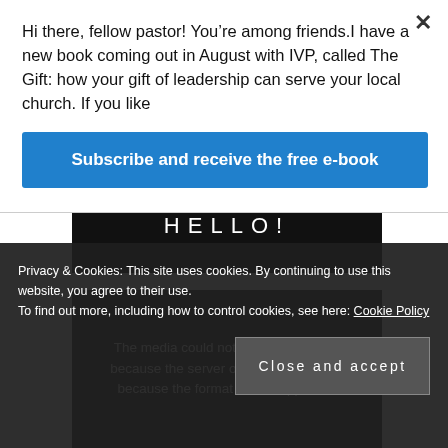Hi there, fellow pastor! You’re among friends.I have a new book coming out in August with IVP, called The Gift: how your gift of leadership can serve your local church. If you like
[Figure (other): Blue subscribe button reading 'Subscribe and receive the free e-book']
HELLO!
The media could not be loaded, either because the server or network failed or because the format is not supported.
Privacy & Cookies: This site uses cookies. By continuing to use this website, you agree to their use.
To find out more, including how to control cookies, see here: Cookie Policy